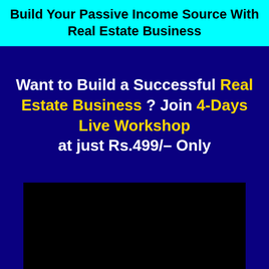Build Your Passive Income Source With Real Estate Business
Want to Build a Successful Real Estate Business ? Join 4-Days Live Workshop at just Rs.499/– Only
[Figure (other): Black rectangle representing a video placeholder area]